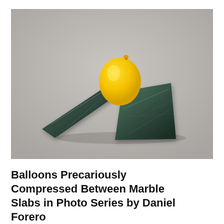[Figure (photo): A yellow inflated balloon squeezed between two dark green marble slabs — one slab lies diagonally like a ramp on the left, the other stands upright as a triangle on the right. The balloon is nestled in the gap between the two slabs, slightly compressed. The background is a neutral warm gray. The arrangement sits on a flat surface.]
Balloons Precariously Compressed Between Marble Slabs in Photo Series by Daniel Forero